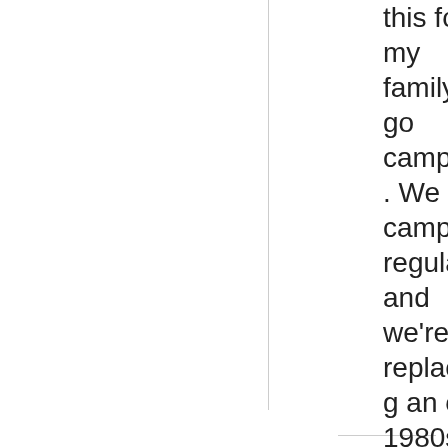this for my family to go camping. We camp regularly and we're replacing an old 1980s tent.